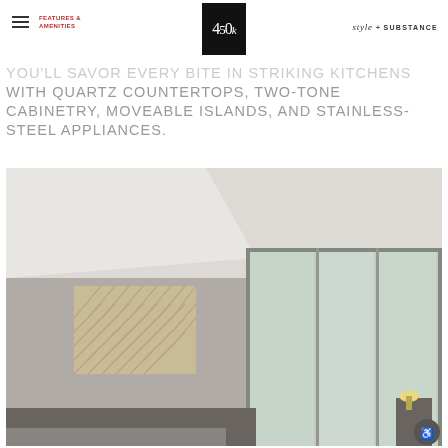FEATURES & AMENITIES | 450k | style + SUBSTANCE
YOU'LL SAVOR EVERY BITE IN STRIKING KITCHENS WITH QUARTZ COUNTERTOPS, TWO-TONE CABINETRY, MOVEABLE ISLANDS, AND STAINLESS-STEEL APPLIANCES.
[Figure (photo): Interior bedroom photo showing a room with taupe/gray walls, white ceiling, frosted glass sliding closet panels, a decorative herringbone-pattern wall art piece, and partial view of a bed and nightstand.]